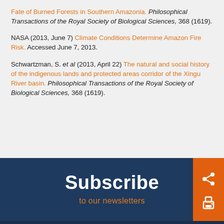Fate of Burned Forests in Southern Amazonia. Philosophical Transactions of the Royal Society of Biological Sciences, 368 (1619).
NASA (2013, June 7) Climate Conditions Determine Amazon Fire Risk. Accessed June 7, 2013.
Schwartzman, S. et al (2013, April 22) The natural and social history of the indigenous lands and protected areas corridor of the Xingu River basin. Philosophical Transactions of the Royal Society of Biological Sciences, 368 (1619).
Subscribe
to our newsletters